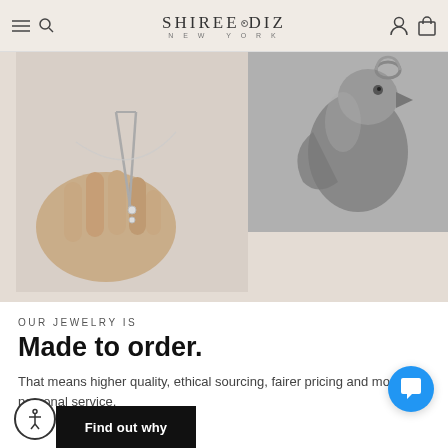SHIREE·DIZ NEW YORK
[Figure (photo): Two-panel image: left panel shows a hand holding tweezers with a delicate silver necklace/pendant; right panel shows a metallic bird (penguin) jewelry piece in black and white.]
OUR JEWELRY IS
Made to order.
That means higher quality, ethical sourcing, fairer pricing and more personal service.
Find out why